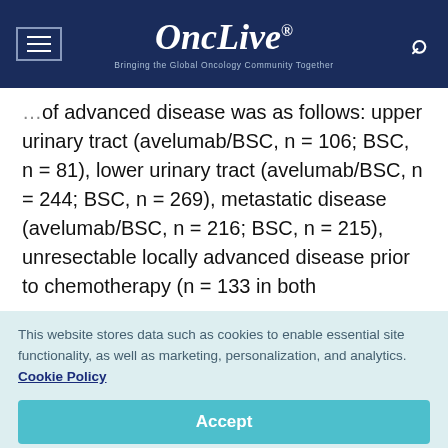OncLive® — Bringing the Global Oncology Community Together
of advanced disease was as follows: upper urinary tract (avelumab/BSC, n = 106; BSC, n = 81), lower urinary tract (avelumab/BSC, n = 244; BSC, n = 269), metastatic disease (avelumab/BSC, n = 216; BSC, n = 215), unresectable locally advanced disease prior to chemotherapy (n = 133 in both
This website stores data such as cookies to enable essential site functionality, as well as marketing, personalization, and analytics. Cookie Policy
Accept
Deny